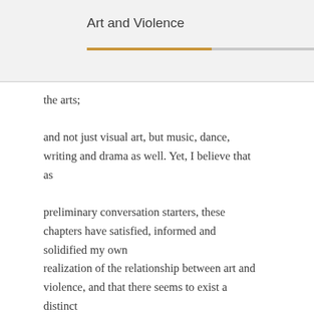Art and Violence
the arts;

and not just visual art, but music, dance, writing and drama as well. Yet, I believe that as

preliminary conversation starters, these chapters have satisfied, informed and solidified my own
realization of the relationship between art and violence, and that there seems to exist a distinct
and clear interdependence and co-reliance between art and violence. Indeed, the messy,